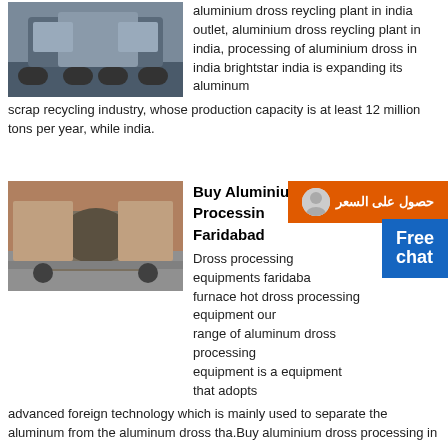[Figure (photo): Industrial mining/recycling truck in a warehouse]
aluminium dross reycling plant in india outlet, aluminium dross reycling plant in india, processing of aluminium dross in india brightstar india is expanding its aluminum scrap recycling industry, whose production capacity is at least 12 million tons per year, while india.
[Figure (photo): Industrial crushing/processing equipment in a factory]
Buy Aluminium Dross Processing Faridabad
Dross processing equipments faridabad furnace hot dross processing equipment our range of aluminum dross processing equipment is a equipment that adopts advanced foreign technology which is mainly used to separate the aluminum from the aluminum dross tha.Buy aluminium dross processing in .
[Figure (photo): Industrial silos/towers in a recycling plant]
a aluminium dross recycling equipment
aluminium dross recycling equipment in india aluminium dross select quality Aluminium Dross Recycling Equipment: We are